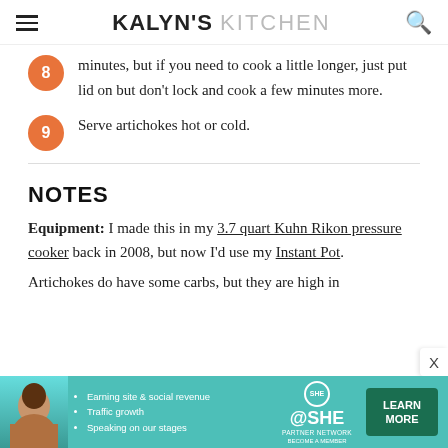KALYN'S KITCHEN
minutes, but if you need to cook a little longer, just put lid on but don't lock and cook a few minutes more.
Serve artichokes hot or cold.
NOTES
Equipment: I made this in my 3.7 quart Kuhn Rikon pressure cooker back in 2008, but now I'd use my Instant Pot.
Artichokes do have some carbs, but they are high in
[Figure (advertisement): SHE Partner Network advertisement banner with teal background, woman photo, bullet points about earning site & social revenue, traffic growth, speaking on our stages, SHE logo, and Learn More button]